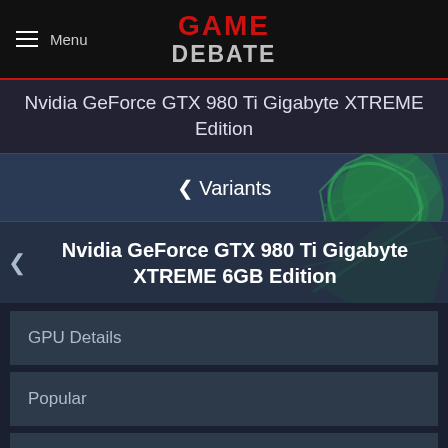Menu | GAME DEBATE
Nvidia GeForce GTX 980 Ti Gigabyte XTREME Edition
< Variants
Nvidia GeForce GTX 980 Ti Gigabyte XTREME 6GB Edition
GPU Details
Popular
Desktop GPU
Laptop GPU